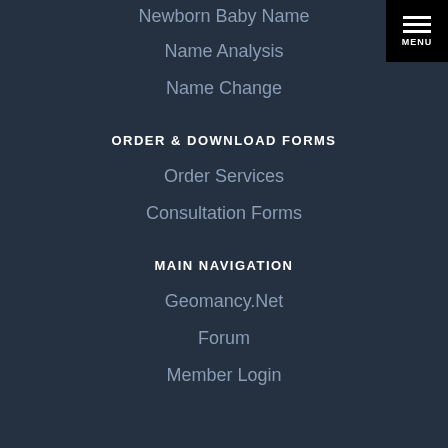Newborn Baby Name
Name Analysis
Name Change
ORDER & DOWNLOAD FORMS
Order Services
Consultation Forms
MAIN NAVIGATION
Geomancy.Net
Forum
Member Login